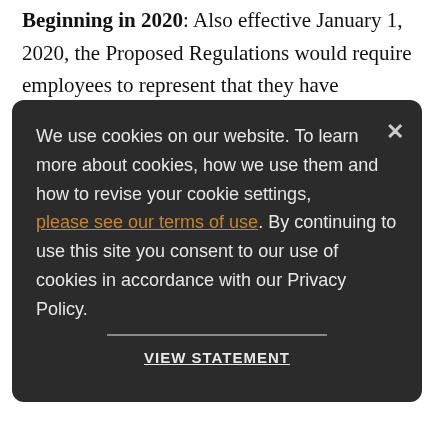Beginning in 2020: Also effective January 1, 2020, the Proposed Regulations would require employees to represent that they have insufficient cash or other liquid assets to satisfy the need for any distribution. Most plans and record keepers already do this on some level – the Proposed Regulations would formally require this.
We use cookies on our website. To learn more about cookies, how we use them and how to revise your cookie settings, please see our terms of use. By continuing to use this site you consent to our use of cookies in accordance with our Privacy Policy.
Next Steps
Most record keepers will have operational